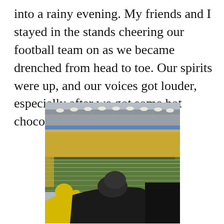into a rainy evening. My friends and I stayed in the stands cheering our football team on as we became drenched from head to toe. Our spirits were up, and our voices got louder, especially after we got some hot chocolate!
[Figure (photo): Photo taken from the stands of a packed football stadium on a rainy, foggy evening. The field is visible below with yard lines, and players and a band are on the field. The opposing stands are full of fans in yellow and black. Stadium lights illuminate the scene. In the foreground, two people in rain jackets (one yellow, one black) are visible from behind.]